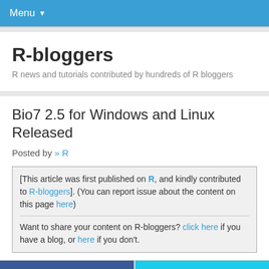Menu ▼
R-bloggers
R news and tutorials contributed by hundreds of R bloggers
Bio7 2.5 for Windows and Linux Released
Posted by » R
[This article was first published on R, and kindly contributed to R-bloggers]. (You can report issue about the content on this page here)

Want to share your content on R-bloggers? click here if you have a blog, or here if you don't.
[Figure (other): Facebook and Twitter social sharing buttons]
07.04.2017